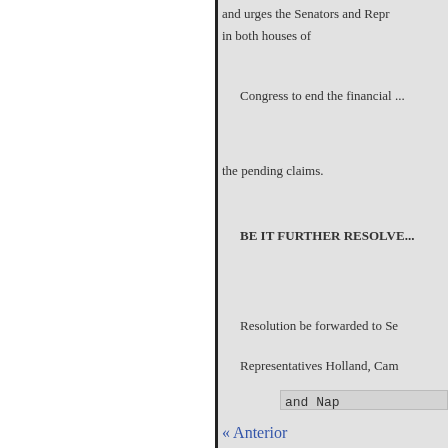and urges the Senators and Repr... in both houses of
Congress to end the financial ...
the pending claims.
BE IT FURTHER RESOLVE...
Resolution be forwarded to Se...
Representatives Holland, Cam...
and Nap...
« Anterior